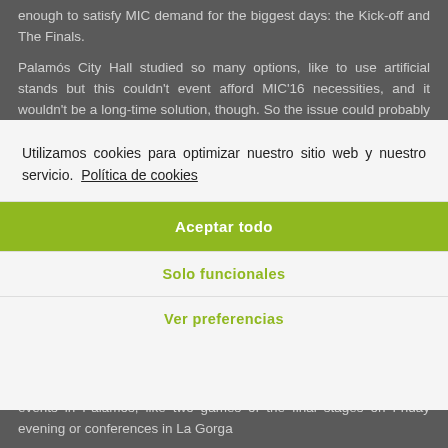enough to satisfy MIC demand for the biggest days: the Kick-off and The Finals.
Palamós City Hall studied so many options, like to use artificial stands but this couldn't event afford MIC'16 necessities, and it wouldn't be a long-time solution, though. So the issue could probably appear again in the
[Figure (screenshot): Cookie consent modal overlay with text 'Utilizamos cookies para optimizar nuestro sitio web y nuestro servicio. Política de cookies' and three buttons: 'Aceptar todo' (green), 'Solo funcionales', 'Ver preferencias']
MIC Integra, 2 in Women competitions and Class E, and also more than 50 games of this same Category E in the Josep Masos i Sals field.
Besides, MIC organization is looking to promote some different events in Palamos, like two games of the final stages on Friday evening or conferences in La Gorga